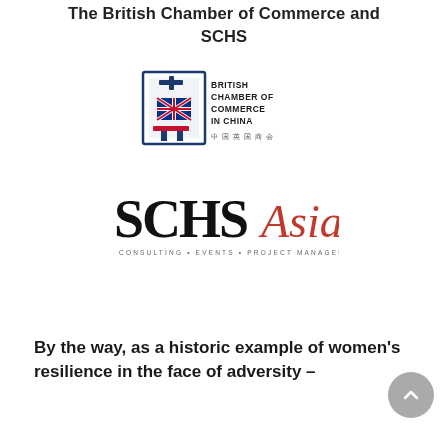The British Chamber of Commerce and SCHS
[Figure (logo): British Chamber of Commerce in China logo — a stylized Chinese character with a Union Jack embedded, alongside text reading BRITISH CHAMBER OF COMMERCE IN CHINA with Chinese characters below]
[Figure (logo): SCHS Asia logo — bold serif SCHS in black with italic Asia in red, and tagline CONSULTING • EVENTS • PROJECT MANAGEMENT in small caps below]
By the way, as a historic example of women's resilience in the face of adversity –